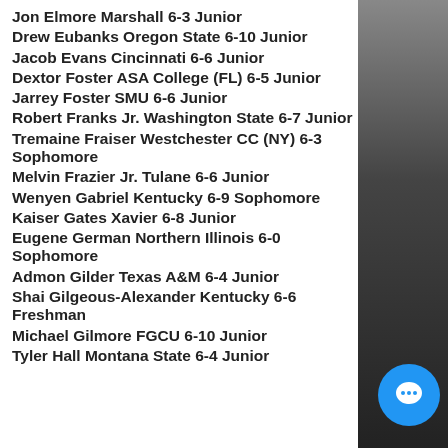Jon Elmore Marshall 6-3 Junior
Drew Eubanks Oregon State 6-10 Junior
Jacob Evans Cincinnati 6-6 Junior
Dextor Foster ASA College (FL) 6-5 Junior
Jarrey Foster SMU 6-6 Junior
Robert Franks Jr. Washington State 6-7 Junior
Tremaine Fraiser Westchester CC (NY) 6-3 Sophomore
Melvin Frazier Jr. Tulane 6-6 Junior
Wenyen Gabriel Kentucky 6-9 Sophomore
Kaiser Gates Xavier 6-8 Junior
Eugene German Northern Illinois 6-0 Sophomore
Admon Gilder Texas A&M 6-4 Junior
Shai Gilgeous-Alexander Kentucky 6-6 Freshman
Michael Gilmore FGCU 6-10 Junior
Tyler Hall Montana State 6-4 Junior